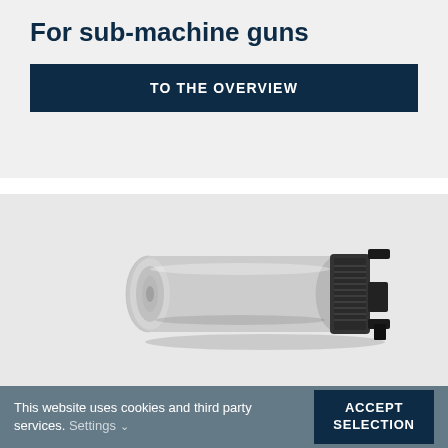For sub-machine guns
TO THE OVERVIEW
[Figure (photo): A cylindrical suppressor/silencer accessory for sub-machine guns, gray body with black mounting bracket on the right end, shown on a light gray background.]
This website uses cookies and third party services. Settings
ACCEPT SELECTION